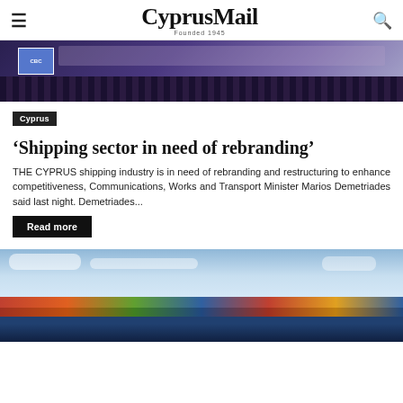CyprusMail Founded 1945
[Figure (photo): Conference panel scene with CBC sign visible, people seated at a draped table]
Cyprus
'Shipping sector in need of rebranding'
THE CYPRUS shipping industry is in need of rebranding and restructuring to enhance competitiveness, Communications, Works and Transport Minister Marios Demetriades said last night. Demetriades...
Read more
[Figure (photo): Container ship loaded with colorful shipping containers under a partly cloudy sky]